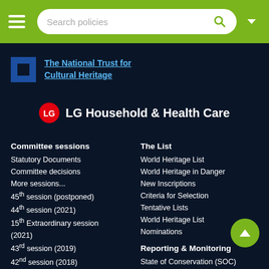[Figure (screenshot): Green navigation bar with hamburger menu, search bar reading 'Search policies', search icon, and dropdown arrow]
The National Trust for Cultural Heritage
[Figure (logo): LG Household & Health Care logo with red LG circle icon]
Committee sessions
Statutory Documents
Committee decisions
More sessions...
45th session (postponed)
44th session (2021)
15th Extraordinary session (2021)
43rd session (2019)
42nd session (2018)
The List
World Heritage List
World Heritage in Danger
New Inscriptions
Criteria for Selection
Tentative Lists
World Heritage List Nominations
General Assembly
23rd GA UNESCO Paris (2021)
22nd GA UNESCO Paris (2019)
Reporting & Monitoring
State of Conservation (SOC)
Periodic Reporting
Questionnaires 2018-20
Questionnaires 2008-20
Reactive Monitoring
Africa